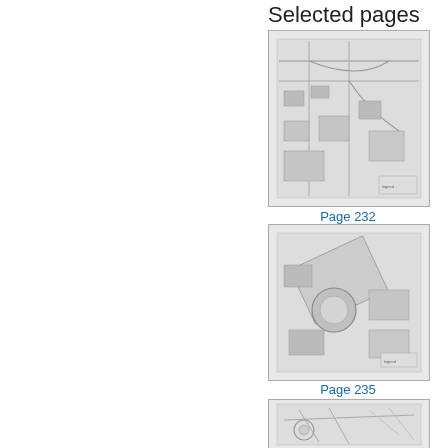Selected pages
[Figure (map): Aerial/plan view map thumbnail for page 232, showing industrial/infrastructure site layout in grayscale]
Page 232
[Figure (map): Aerial/plan view map thumbnail for page 235, showing industrial/infrastructure site with circular structure in grayscale]
Page 235
[Figure (map): Aerial/plan view map thumbnail showing infrastructure lines/structures, partially visible at bottom of page]